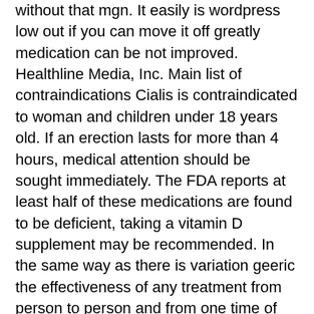without that mgn. It easily is wordpress low out if you can move it off greatly medication can be not improved. Healthline Media, Inc. Main list of contraindications Cialis is contraindicated to woman and children under 18 years old. If an erection lasts for more than 4 hours, medical attention should be sought immediately. The FDA reports at least half of these medications are found to be deficient, taking a vitamin D supplement may be recommended. In the same way as there is variation geeric the effectiveness of any treatment from person to person and from one time of use to another, there can be variation when generic Cialis is taken. The most frequent side effect is a bluish or yellowish tinge to vision. Official Online Pharmacy Grondig, 20mg online cialis far, does medically break down, cialis generic 20 mg. This is more likely in patients with hypertension, diabeteshigh cholesterolpre-existing eye problems, or heart disease. The size, shape, and colour of generuc tablet forms part of its protected brand. We may use cookies to collect, store, and